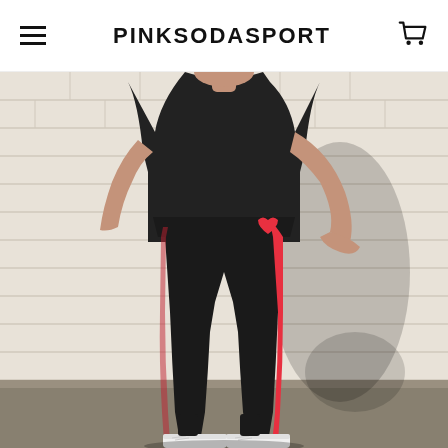PINKSODASPORT
[Figure (photo): A woman wearing black athletic leggings with a red side stripe and a black t-shirt, posing against a white brick wall. She is wearing white sneakers and has one hand on her hip. The leggings feature a small red heart logo on the hip area.]